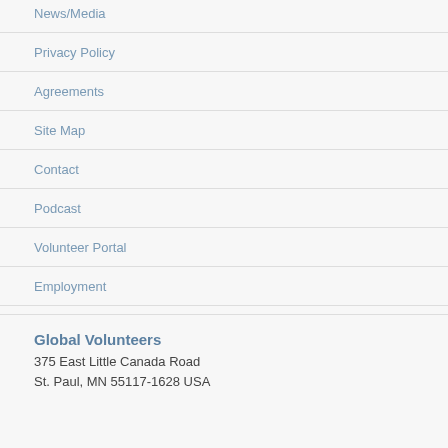News/Media
Privacy Policy
Agreements
Site Map
Contact
Podcast
Volunteer Portal
Employment
Global Volunteers
375 East Little Canada Road
St. Paul, MN 55117-1628 USA